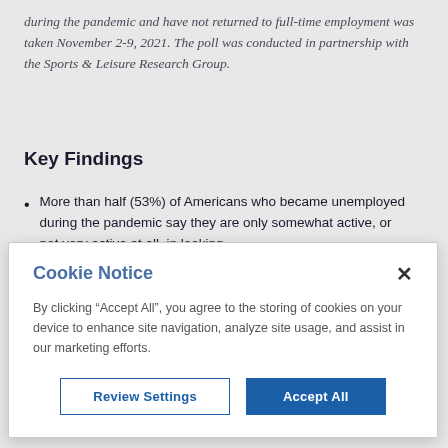during the pandemic and have not returned to full-time employment was taken November 2-9, 2021. The poll was conducted in partnership with the Sports & Leisure Research Group.
Key Findings
More than half (53%) of Americans who became unemployed during the pandemic say they are only somewhat active, or not very active at all, in looking
[Figure (screenshot): Cookie Notice modal dialog with title 'Cookie Notice', close button (×), body text about accepting cookies, and two buttons: 'Review Settings' (outlined) and 'Accept All' (filled blue).]